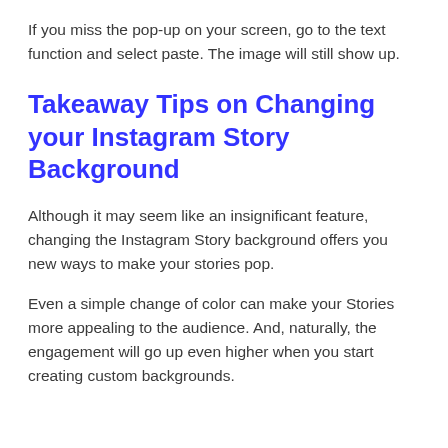If you miss the pop-up on your screen, go to the text function and select paste. The image will still show up.
Takeaway Tips on Changing your Instagram Story Background
Although it may seem like an insignificant feature, changing the Instagram Story background offers you new ways to make your stories pop.
Even a simple change of color can make your Stories more appealing to the audience. And, naturally, the engagement will go up even higher when you start creating custom backgrounds.